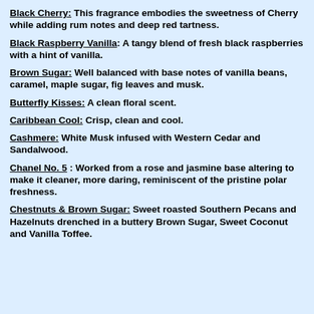Black Cherry: This fragrance embodies the sweetness of Cherry while adding rum notes and deep red tartness.
Black Raspberry Vanilla: A tangy blend of fresh black raspberries with a hint of vanilla.
Brown Sugar: Well balanced with base notes of vanilla beans, caramel, maple sugar, fig leaves and musk.
Butterfly Kisses: A clean floral scent.
Caribbean Cool: Crisp, clean and cool.
Cashmere: White Musk infused with Western Cedar and Sandalwood.
Chanel No. 5 : Worked from a rose and jasmine base altering to make it cleaner, more daring, reminiscent of the pristine polar freshness.
Chestnuts & Brown Sugar: Sweet roasted Southern Pecans and Hazelnuts drenched in a buttery Brown Sugar, Sweet Coconut and Vanilla Toffee.